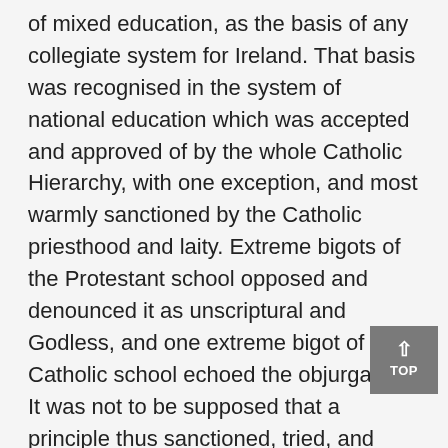of mixed education, as the basis of any collegiate system for Ireland. That basis was recognised in the system of national education which was accepted and approved of by the whole Catholic Hierarchy, with one exception, and most warmly sanctioned by the Catholic priesthood and laity. Extreme bigots of the Protestant school opposed and denounced it as unscriptural and Godless, and one extreme bigot of the Catholic school echoed the objurgation. It was not to be supposed that a principle thus sanctioned, tried, and efficient as applicable to the children of the poor, would be objected to when applied to those who were higher in station and older in years. When, therefore, the Bill was introduced and its principal provisions announced, it was received with the utmost delight and, even, triumph. Mr. O'Connell proclaimed in a meeting of the committee his emphatic approval of the principle of the Bill.
As soon as its details were published, it was submitted